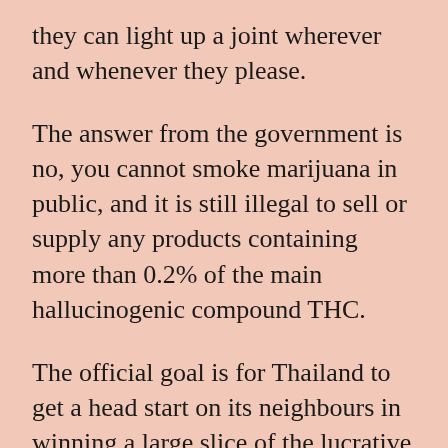they can light up a joint wherever and whenever they please.
The answer from the government is no, you cannot smoke marijuana in public, and it is still illegal to sell or supply any products containing more than 0.2% of the main hallucinogenic compound THC.
The official goal is for Thailand to get a head start on its neighbours in winning a large slice of the lucrative market for health treatments using cannabis derivatives, in particular the milder compound CBD. But there is another motive; to reducing overcrowding in some of the world's most overcrowded jails.